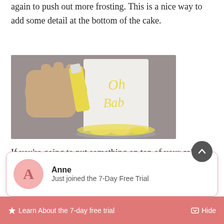again to push out more frosting. This is a nice way to add some detail at the bottom of the cake.
[Figure (photo): A hand pressing a piping bag against the bottom of a white cake decorated with yellow frosting script reading 'Oh Baby', sitting on a silver cake board. Yellow ruffle frosting is visible at the base.]
If you're going to put something on top of your cake, like macarons or sugar art or chocolate
Anne
Just joined the 7-Day Free Trial
⚡ Learn About the 7-day free trial
Hide